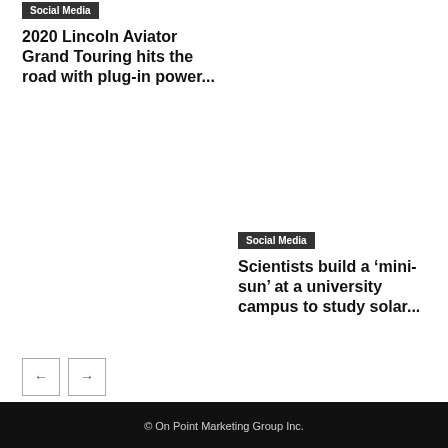Social Media
2020 Lincoln Aviator Grand Touring hits the road with plug-in power...
Social Media
Scientists build a ‘mini-sun’ at a university campus to study solar...
© On Point Marketing Group Inc.